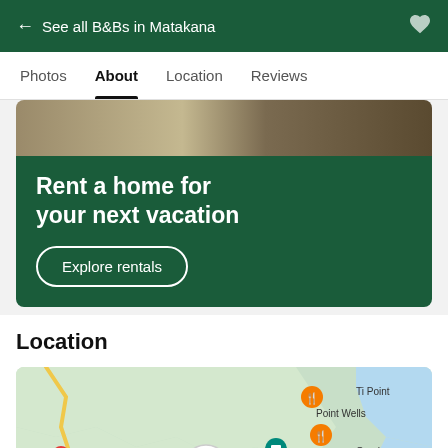← See all B&Bs in Matakana
Photos  About  Location  Reviews
[Figure (infographic): Rental ad banner: green background with photo strip of vacation home at top, large white text 'Rent a home for your next vacation', white outlined pill button 'Explore rentals']
Location
[Figure (map): Google Maps view of Matakana area in New Zealand showing location markers for B&Bs, restaurants, and attractions. Area labels include Ti Point, Point Wells, Omaha, Matakana, Dome Valley, Tawharanui Peninsula. A large white circle marker with bed icon indicates the B&B location.]